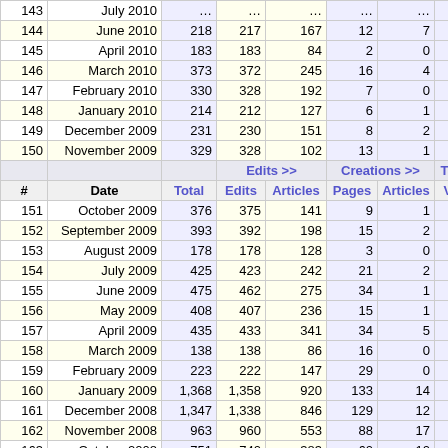| # | Date | Total | Edits | Articles | Pages | Articles | Volume |
| --- | --- | --- | --- | --- | --- | --- | --- |
| 143 | July 2010 | … | … | … | … | … | … |
| 144 | June 2010 | 218 | 217 | 167 | 12 | 7 | 365 |
| 145 | April 2010 | 183 | 183 | 84 | 2 | 0 | 194 |
| 146 | March 2010 | 373 | 372 | 245 | 16 | 4 | 277 |
| 147 | February 2010 | 330 | 328 | 192 | 7 | 0 | 676 |
| 148 | January 2010 | 214 | 212 | 127 | 6 | 1 | 314 |
| 149 | December 2009 | 231 | 230 | 151 | 8 | 2 | 177 |
| 150 | November 2009 | 329 | 328 | 102 | 13 | 1 | 367 |
| 151 | October 2009 | 376 | 375 | 141 | 9 | 1 | 952 |
| 152 | September 2009 | 393 | 392 | 198 | 15 | 2 | 588 |
| 153 | August 2009 | 178 | 178 | 128 | 3 | 0 | 164 |
| 154 | July 2009 | 425 | 423 | 242 | 21 | 2 | 763 |
| 155 | June 2009 | 475 | 462 | 275 | 34 | 1 | 738 M |
| 156 | May 2009 | 408 | 407 | 236 | 15 | 1 | 617 |
| 157 | April 2009 | 435 | 433 | 341 | 34 | 5 | 216 |
| 158 | March 2009 | 138 | 138 | 86 | 16 | 0 | 308 |
| 159 | February 2009 | 223 | 222 | 147 | 29 | 0 | 1.1 M |
| 160 | January 2009 | 1,368 | 1,358 | 920 | 133 | 14 | 2.5 M |
| 161 | December 2008 | 1,347 | 1,338 | 846 | 129 | 12 | 2.4 M |
| 162 | November 2008 | 963 | 960 | 553 | 88 | 17 | 1.3 M |
| 163 | October 2008 | 751 | 740 | 383 | 60 | 10 | 727 |